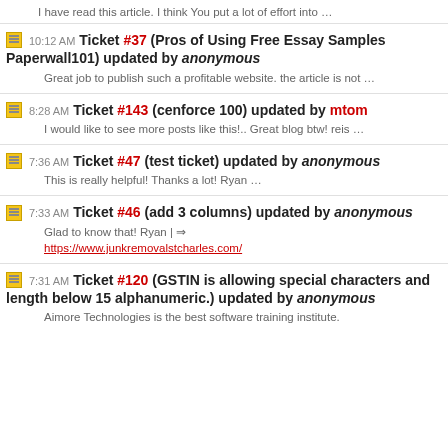I have read this article. I think You put a lot of effort into …
10:12 AM Ticket #37 (Pros of Using Free Essay Samples Paperwall101) updated by anonymous
Great job to publish such a profitable website. the article is not …
8:28 AM Ticket #143 (cenforce 100) updated by mtom
I would like to see more posts like this!.. Great blog btw! reis …
7:36 AM Ticket #47 (test ticket) updated by anonymous
This is really helpful! Thanks a lot! Ryan …
7:33 AM Ticket #46 (add 3 columns) updated by anonymous
Glad to know that! Ryan | ⇒ https://www.junkremovalstcharles.com/
7:31 AM Ticket #120 (GSTIN is allowing special characters and length below 15 alphanumeric.) updated by anonymous
Aimore Technologies is the best software training institute. …